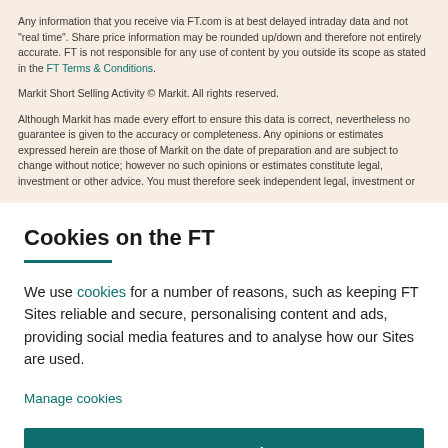Any information that you receive via FT.com is at best delayed intraday data and not "real time". Share price information may be rounded up/down and therefore not entirely accurate. FT is not responsible for any use of content by you outside its scope as stated in the FT Terms & Conditions.
Markit Short Selling Activity © Markit. All rights reserved.
Although Markit has made every effort to ensure this data is correct, nevertheless no guarantee is given to the accuracy or completeness. Any opinions or estimates expressed herein are those of Markit on the date of preparation and are subject to change without notice; however no such opinions or estimates constitute legal, investment or other advice. You must therefore seek independent legal, investment or
Cookies on the FT
We use cookies for a number of reasons, such as keeping FT Sites reliable and secure, personalising content and ads, providing social media features and to analyse how our Sites are used.
Manage cookies
Accept & continue